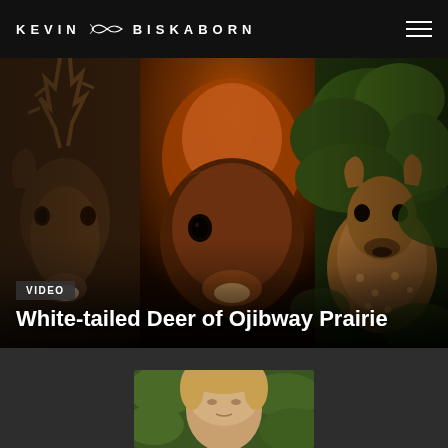KEVIN BISKABORN
[Figure (photo): Three deer photographs composited together: white-tailed buck with antlers on left, close-up of a deer face lit with warm orange light in center, and a fawn partially hidden in green foliage on right. Text overlay includes VIDEO badge and title 'White-tailed Deer of Ojibway Prairie'.]
White-tailed Deer of Ojibway Prairie
[Figure (photo): Partial portrait photograph of a person (Kevin Biskaborn) visible at bottom of page, cropped at head level against a green leafy background.]